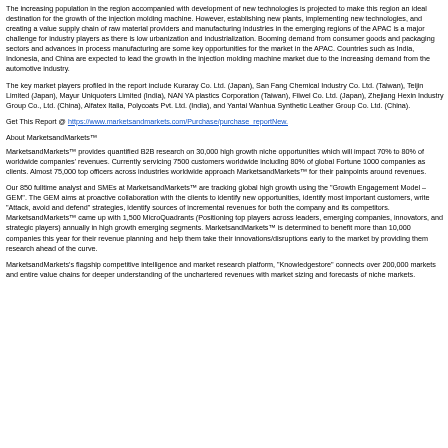The increasing population in the region accompanied with development of new technologies is projected to make this region an ideal destination for the growth of the injection molding machine. However, establishing new plants, implementing new technologies, and creating a value supply chain of raw material providers and manufacturing industries in the emerging regions of the APAC is a major challenge for industry players as there is low urbanization and industrialization. Booming demand from consumer goods and packaging sectors and advances in process manufacturing are some key opportunities for the market in the APAC. Countries such as India, Indonesia, and China are expected to lead the growth in the injection molding machine market due to the increasing demand from the automotive industry.
The key market players profiled in the report include Kuraray Co. Ltd. (Japan), San Fang Chemical Industry Co. Ltd. (Taiwan), Teijin Limited (Japan), Mayur Uniquoters Limited (India), NAN YA plastics Corporation (Taiwan), Filwel Co. Ltd. (Japan), Zhejiang Hexin Industry Group Co., Ltd. (China), Alfatex Italia, Polycoats Pvt. Ltd. (India), and Yantai Wanhua Synthetic Leather Group Co. Ltd. (China).
Get This Report @ https://www.marketsandmarkets.com/Purchase/purchase_reportNew.
About MarketsandMarkets™
MarketsandMarkets™ provides quantified B2B research on 30,000 high growth niche opportunities which will impact 70% to 80% of worldwide companies' revenues. Currently servicing 7500 customers worldwide including 80% of global Fortune 1000 companies as clients. Almost 75,000 top officers across industries worldwide approach MarketsandMarkets™ for their painpoints around revenues.
Our 850 fulltime analyst and SMEs at MarketsandMarkets™ are tracking global high growth using the "Growth Engagement Model – GEM". The GEM aims at proactive collaboration with the clients to identify new opportunities, identify most important customers, write "Attack, avoid and defend" strategies, identify sources of incremental revenues for both the company and its competitors. MarketsandMarkets™ came up with 1,500 MicroQuadrants (Positioning top players across leaders, emerging companies, innovators, and strategic players) annually in high growth emerging segments. MarketsandMarkets™ is determined to benefit more than 10,000 companies this year for their revenue planning and help them take their innovations/disruptions early to the market by providing them research ahead of the curve.
MarketsandMarkets's flagship competitive intelligence and market research platform, "Knowledgestore" connects over 200,000 markets and entire value chains for deeper understanding of the unchartered revenues with market sizing and forecasts of niche markets.